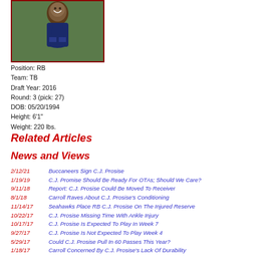[Figure (photo): Player photo of C.J. Prosise in blue uniform, smiling, outdoors]
Position: RB
Team: TB
Draft Year: 2016
Round: 3 (pick: 27)
DOB: 05/20/1994
Height: 6'1"
Weight: 220 lbs.
Related Articles
News and Views
2/12/21   Buccaneers Sign C.J. Prosise
1/19/19   C.J. Promise Should Be Ready For OTAs; Should We Care?
9/11/18   Report: C.J. Prosise Could Be Moved To Receiver
8/1/18   Carroll Raves About C.J. Prosise's Conditioning
11/14/17   Seahawks Place RB C.J. Prosise On The Injured Reserve
10/22/17   C.J. Prosise Missing Time With Ankle Injury
10/17/17   C.J. Prosise Is Expected To Play In Week 7
9/27/17   C.J. Prosise Is Not Expected To Play Week 4
5/29/17   Could C.J. Prosise Pull In 60 Passes This Year?
1/18/17   Carroll Concerned By C.J. Prosise's Lack Of Durability